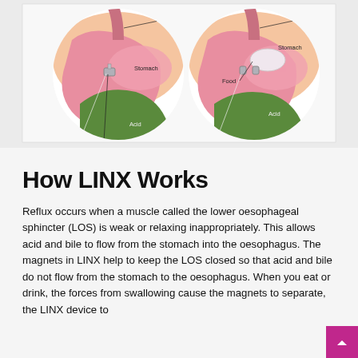[Figure (illustration): Two circular anatomical diagrams showing how the LINX device works. Left diagram shows the normal state with labels: Oesophagus, Stomach, Acid, LINX. Right diagram shows food passing with labels: Oesophagus, Stomach, Food, Acid, LINX. Both diagrams show cross-sectional medical illustrations of the lower oesophageal sphincter area with the LINX magnetic ring device.]
How LINX Works
Reflux occurs when a muscle called the lower oesophageal sphincter (LOS) is weak or relaxing inappropriately. This allows acid and bile to flow from the stomach into the oesophagus. The magnets in LINX help to keep the LOS closed so that acid and bile do not flow from the stomach to the oesophagus. When you eat or drink, the forces from swallowing cause the magnets to separate, the LINX device to